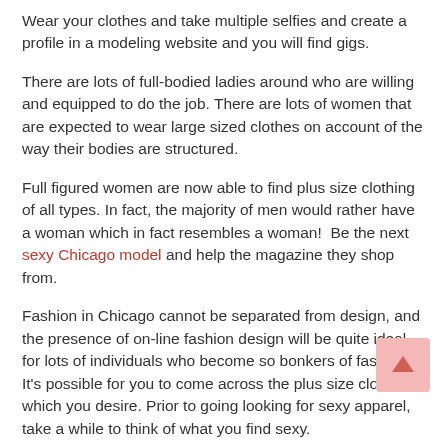Wear your clothes and take multiple selfies and create a profile in a modeling website and you will find gigs.
There are lots of full-bodied ladies around who are willing and equipped to do the job. There are lots of women that are expected to wear large sized clothes on account of the way their bodies are structured.
Full figured women are now able to find plus size clothing of all types. In fact, the majority of men would rather have a woman which in fact resembles a woman!  Be the next sexy Chicago model and help the magazine they shop from.
Fashion in Chicago cannot be separated from design, and the presence of on-line fashion design will be quite ideal for lots of individuals who become so bonkers of fashion. It’s possible for you to come across the plus size clothing which you desire. Prior to going looking for sexy apparel, take a while to think of what you find sexy.
Find your size for plus size modeling Chicago